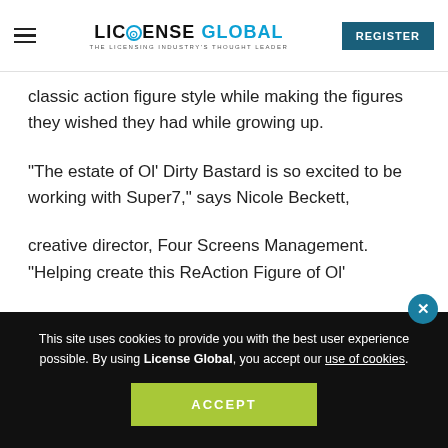LICENSE GLOBAL — THE LICENSING INDUSTRY'S THOUGHT LEADER | REGISTER
classic action figure style while making the figures they wished they had while growing up.
“The estate of Ol’ Dirty Bastard is so excited to be working with Super7,” says Nicole Beckett,
creative director, Four Screens Management. “Helping create this ReAction Figure of Ol’
This site uses cookies to provide you with the best user experience possible. By using License Global, you accept our use of cookies.